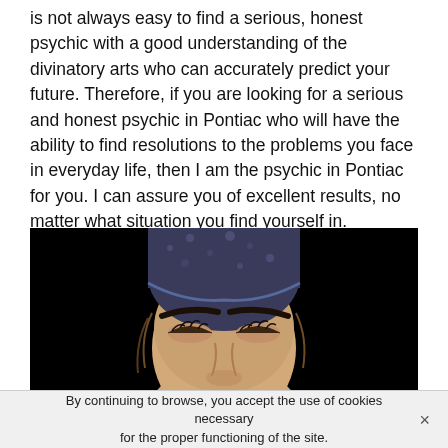is not always easy to find a serious, honest psychic with a good understanding of the divinatory arts who can accurately predict your future. Therefore, if you are looking for a serious and honest psychic in Pontiac who will have the ability to find resolutions to the problems you face in everyday life, then I am the psychic in Pontiac for you. I can assure you of excellent results, no matter what situation you find yourself in.
[Figure (photo): Close-up photo of a person wearing a patterned bandana/headscarf against a black background, face visible from forehead to nose with eyes closed]
By continuing to browse, you accept the use of cookies necessary for the proper functioning of the site.